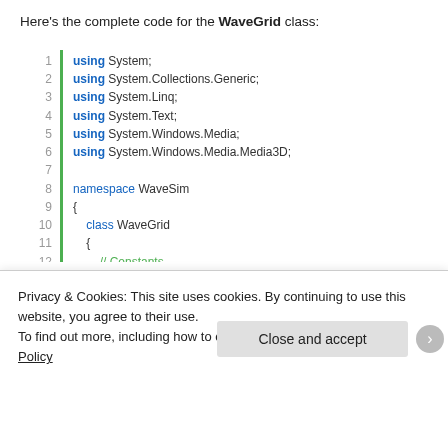Here's the complete code for the WaveGrid class:
[Figure (screenshot): Syntax-highlighted C# code block showing WaveGrid class partial listing, lines 1-18, with green gutter bar on left and line numbers. Code includes using directives, namespace WaveSim, class WaveGrid with constants MinDimension, Damping, SmoothingFactor, and private member data comment.]
Privacy & Cookies: This site uses cookies. By continuing to use this website, you agree to their use.
To find out more, including how to control cookies, see here: Cookie Policy
Close and accept